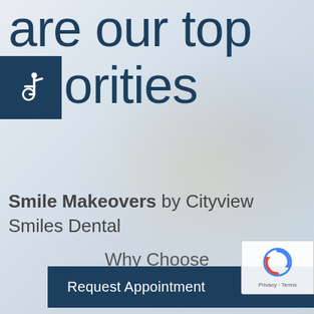are our top priorities
[Figure (illustration): Wheelchair accessibility icon — white figure in wheelchair on dark teal/navy square background]
Smile Makeovers by Cityview Smiles Dental
Request Appointment
Why Choose
Gonna Golfand, DDS
[Figure (logo): Google reCAPTCHA badge — reCAPTCHA logo with spinning arrows, Privacy and Terms links]